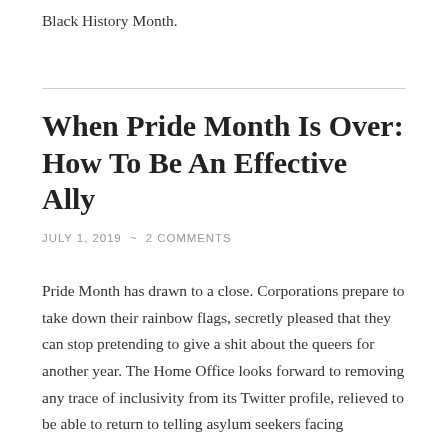Black History Month.
When Pride Month Is Over: How To Be An Effective Ally
JULY 1, 2019 ~ 2 COMMENTS
Pride Month has drawn to a close. Corporations prepare to take down their rainbow flags, secretly pleased that they can stop pretending to give a shit about the queers for another year. The Home Office looks forward to removing any trace of inclusivity from its Twitter profile, relieved to be able to return to telling asylum seekers facing